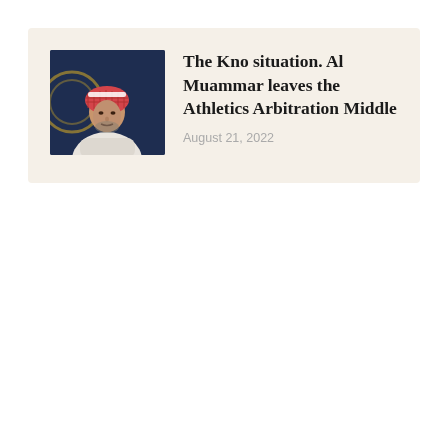[Figure (photo): Photo of a man wearing traditional Saudi white thobe and red-checkered keffiyeh headscarf, seated, with a dark blue background featuring a partial gold emblem]
The Kno situation. Al Muammar leaves the Athletics Arbitration Middle
August 21, 2022